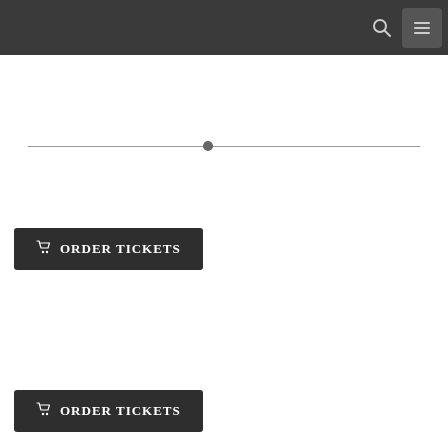Navigation header bar with search and menu icons
[Figure (other): Horizontal divider line with a centered circle dot]
ORDER TICKETS (button 1)
ORDER TICKETS (button 2)